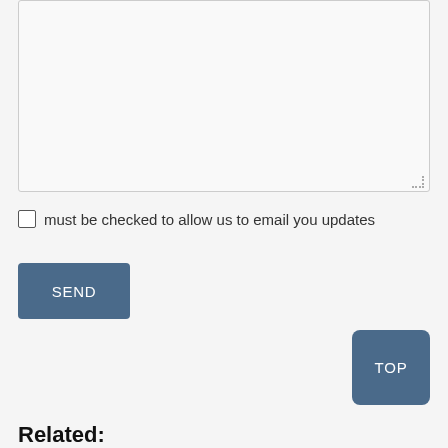[Figure (screenshot): Empty textarea input box with resize handle at bottom right]
must be checked to allow us to email you updates
SEND
TOP
Related: